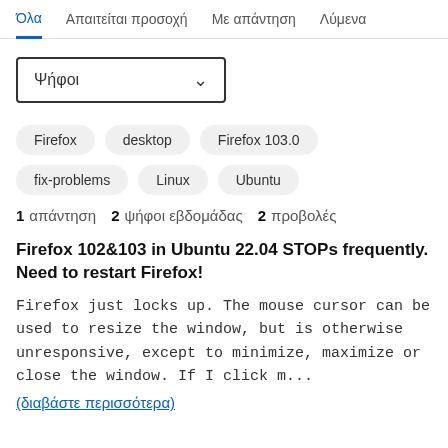Όλα  Απαιτείται προσοχή  Με απάντηση  Λύμενα
Ψήφοι ∨
Firefox
desktop
Firefox 103.0
fix-problems
Linux
Ubuntu
1 απάντηση  2 ψήφοι εβδομάδας  2 προβολές
Firefox 102&103 in Ubuntu 22.04 STOPs frequently. Need to restart Firefox!
Firefox just locks up. The mouse cursor can be used to resize the window, but is otherwise unresponsive, except to minimize, maximize or close the window. If I click m...
(διαβάστε περισσότερα)